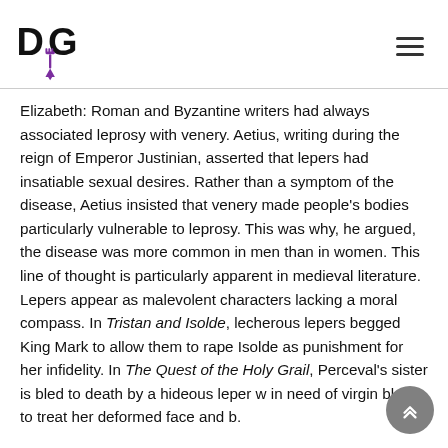DG logo and hamburger menu
Elizabeth: Roman and Byzantine writers had always associated leprosy with venery. Aetius, writing during the reign of Emperor Justinian, asserted that lepers had insatiable sexual desires. Rather than a symptom of the disease, Aetius insisted that venery made people's bodies particularly vulnerable to leprosy. This was why, he argued, the disease was more common in men than in women. This line of thought is particularly apparent in medieval literature. Lepers appear as malevolent characters lacking a moral compass. In Tristan and Isolde, lecherous lepers begged King Mark to allow them to rape Isolde as punishment for her infidelity. In The Quest of the Holy Grail, Perceval's sister is bled to death by a hideous leper w in need of virgin blood to treat her deformed face and b.